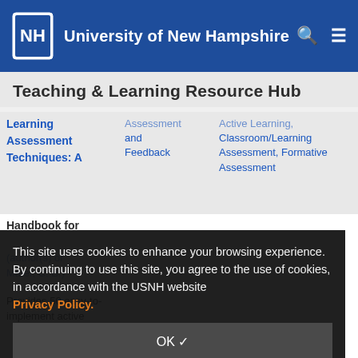University of New Hampshire
Teaching & Learning Resource Hub
Learning
Assessment
Techniques: A
Assessment and Feedback
Active Learning, Classroom/Learning Assessment, Formative Assessment
Handbook for
This site uses cookies to enhance your browsing experience. By continuing to use this site, you agree to the use of cookies, in accordance with the USNH website Privacy Policy.
Provides 50 easy-to-implement active learning across academic disciplines and learning